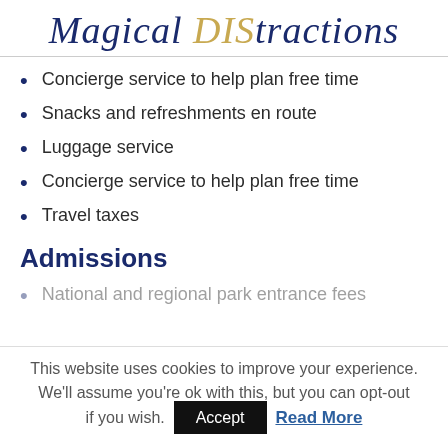Magical DIStractions
Concierge service to help plan free time
Snacks and refreshments en route
Luggage service
Concierge service to help plan free time
Travel taxes
Admissions
National and regional park entrance fees
This website uses cookies to improve your experience. We'll assume you're ok with this, but you can opt-out if you wish. Accept  Read More